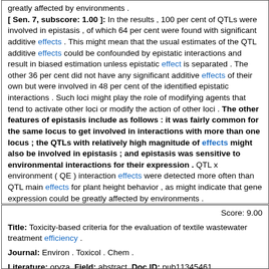greatly affected by environments . [ Sen. 7, subscore: 1.00 ]: In the results , 100 per cent of QTLs were involved in epistasis , of which 64 per cent were found with significant additive effects . This might mean that the usual estimates of the QTL additive effects could be confounded by epistatic interactions and result in biased estimation unless epistatic effect is separated . The other 36 per cent did not have any significant additive effects of their own but were involved in 48 per cent of the identified epistatic interactions . Such loci might play the role of modifying agents that tend to activate other loci or modify the action of other loci . The other features of epistasis include as follows : it was fairly common for the same locus to get involved in interactions with more than one locus ; the QTLs with relatively high magnitude of effects might also be involved in epistasis ; and epistasis was sensitive to environmental interactions for their expression . QTL x environment ( QE ) interaction effects were detected more often than QTL main effects for plant height behavior , as might indicate that gene expression could be greatly affected by environments .
Score: 9.00 Title: Toxicity-based criteria for the evaluation of textile wastewater treatment efficiency . Journal: Environ . Toxicol . Chem . Literature: oryza Field: abstract Doc ID: pub11345461 Matching Sentences: [ Sen. 3, subscore: 2.00 ]: Brazilian textile mills import wastewater treatment technologies , performances of which are generally evaluated only on a physicochemical basis . Thus , a battery of bioassays was used to evaluate the performance of an ozonation system to treat textile